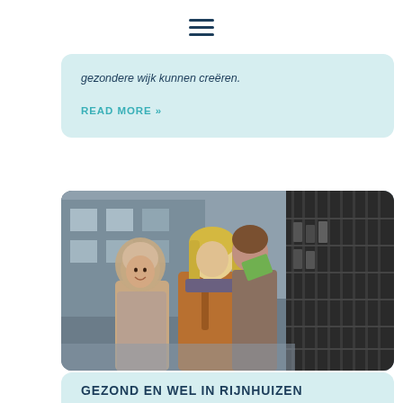[Figure (other): Hamburger/navigation menu icon (three horizontal dark lines)]
gezondere wijk kunnen creëren.
READ MORE »
[Figure (photo): Two women indoors, one wearing a hijab smiling, another with blonde hair leaning forward looking at papers or a board on the wall with dark shelves/mailboxes on the right side.]
GEZOND EN WEL IN RIJNHUIZEN